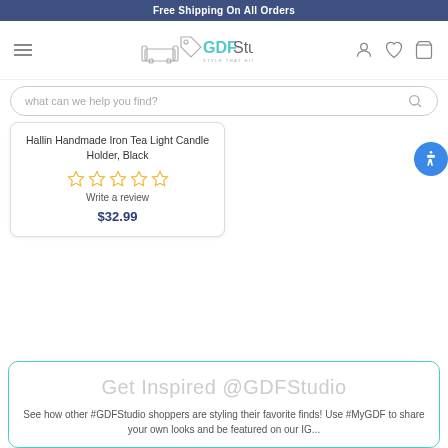Free Shipping On All Orders
[Figure (logo): GDF Studio logo with sofa and tag icon, tagline: STYLE THAT HITS HOME]
what can we help you find?
Hallin Handmade Iron Tea Light Candle Holder, Black
Write a review
$32.99
Get Inspired @GDFStudio
See how other #GDFStudio shoppers are styling their favorite finds! Use #MyGDF to share your own looks and be featured on our IG...